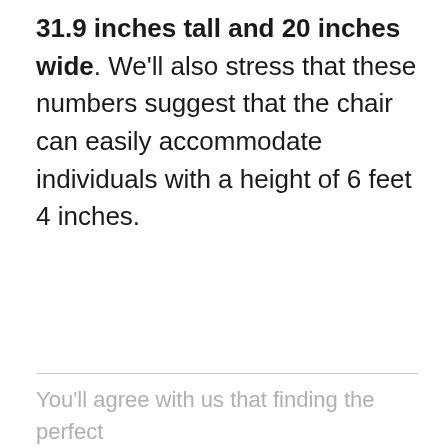31.9 inches tall and 20 inches wide. We'll also stress that these numbers suggest that the chair can easily accommodate individuals with a height of 6 feet 4 inches.
You'll agree with us that finding the perfect